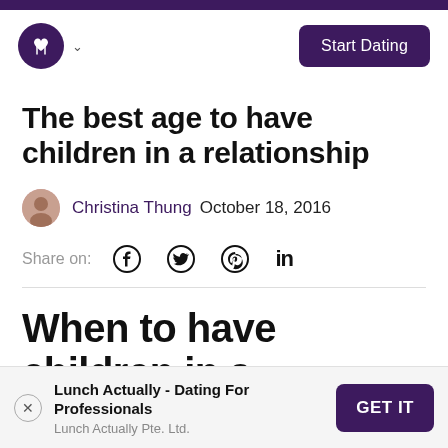Lunch Actually – Start Dating
The best age to have children in a relationship
Christina Thung  October 18, 2016
Share on:
When to have children in a
Lunch Actually - Dating For Professionals
Lunch Actually Pte. Ltd.